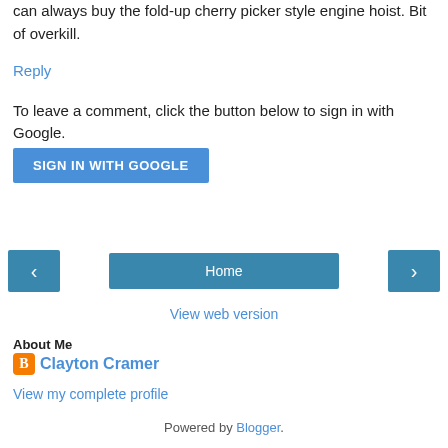can always buy the fold-up cherry picker style engine hoist. Bit of overkill.
Reply
To leave a comment, click the button below to sign in with Google.
[Figure (screenshot): Blue button labeled SIGN IN WITH GOOGLE]
[Figure (screenshot): Navigation bar with left arrow button, Home button, and right arrow button]
View web version
About Me
Clayton Cramer
View my complete profile
Powered by Blogger.